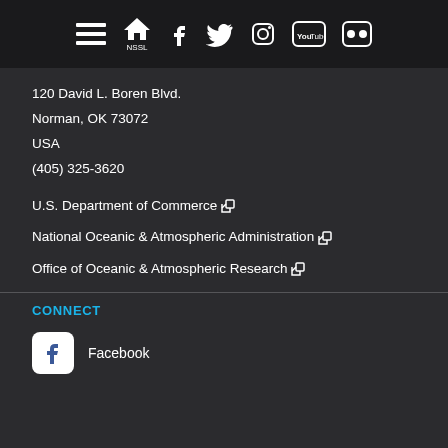Navigation bar with menu, NSSL home, Facebook, Twitter, Instagram, YouTube, Flickr icons
120 David L. Boren Blvd.
Norman, OK 73072
USA
(405) 325-3620
U.S. Department of Commerce ↗
National Oceanic & Atmospheric Administration ↗
Office of Oceanic & Atmospheric Research ↗
CONNECT
Facebook